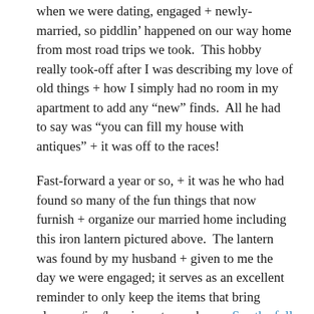when we were dating, engaged + newly-married, so piddlin' happened on our way home from most road trips we took. This hobby really took-off after I was describing my love of old things + how I simply had no room in my apartment to add any “new” finds. All he had to say was “you can fill my house with antiques” + it was off to the races!
Fast-forward a year or so, + it was he who had found so many of the fun things that now furnish + organize our married home including this iron lantern pictured above. The lantern was found by my husband + given to me the day we were engaged; it serves as an excellent reminder to only keep the items that bring pleasure/joy/happiness to our home. See the full story of this sentimental antique here.